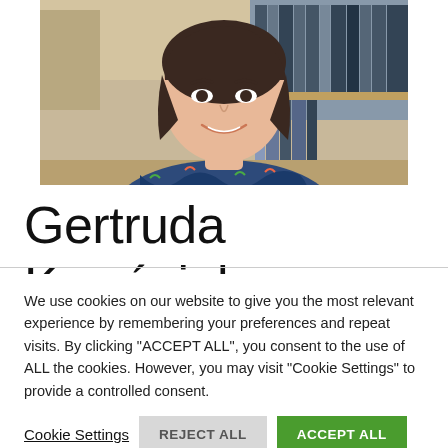[Figure (photo): Portrait photo of a young woman with short dark hair, wearing a floral print top, sitting in front of a bookshelf]
Gertruda Kwaśniak
We use cookies on our website to give you the most relevant experience by remembering your preferences and repeat visits. By clicking "ACCEPT ALL", you consent to the use of ALL the cookies. However, you may visit "Cookie Settings" to provide a controlled consent.
Cookie Settings
REJECT ALL
ACCEPT ALL